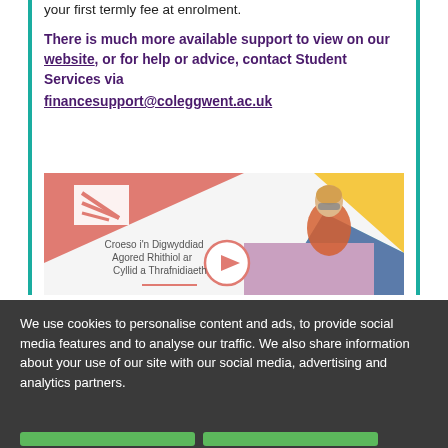your first termly fee at enrolment.
There is much more available support to view on our website, or for help or advice, contact Student Services via financesupport@coleggwent.ac.uk
[Figure (screenshot): Coleg Gwent promotional video thumbnail showing a stylish woman with sunglasses and text 'Croeso i'n Digwyddiad Agored Rhithiol ar Cyllid a Thrafnidiaeth' with a play button]
We use cookies to personalise content and ads, to provide social media features and to analyse our traffic. We also share information about your use of our site with our social media, advertising and analytics partners.